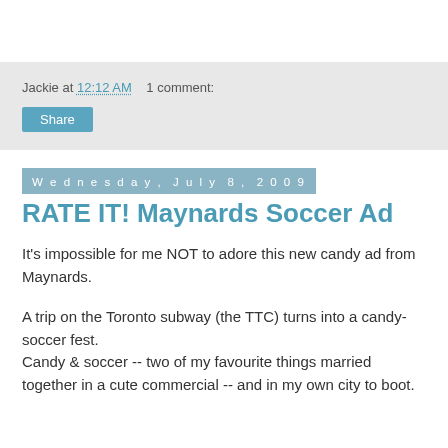Jackie at 12:12 AM    1 comment:
Share
Wednesday, July 8, 2009
RATE IT! Maynards Soccer Ad
It's impossible for me NOT to adore this new candy ad from Maynards.
A trip on the Toronto subway (the TTC) turns into a candy-soccer fest.
Candy & soccer -- two of my favourite things married together in a cute commercial -- and in my own city to boot.